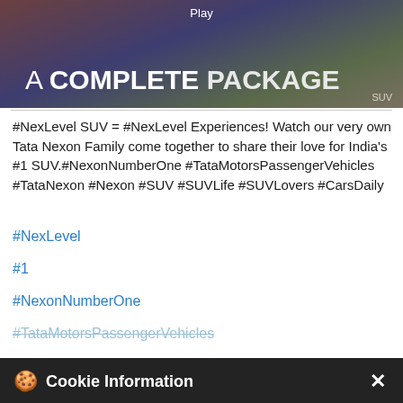[Figure (screenshot): Dark banner image showing text 'A COMPLETE PACKAGE' with a Play button label at top center]
#NexLevel SUV = #NexLevel Experiences! Watch our very own Tata Nexon Family come together to share their love for India's #1 SUV.#NexonNumberOne #TataMotorsPassengerVehicles #TataNexon #Nexon #SUV #SUVLife #SUVLovers #CarsDaily
#NexLevel
#1
#NexonNumberOne
#TataMotorsPassengerVehicles
#SUVLovers
#CarsDaily
Cookie Information

On our website, we use services (including from third-party providers) that help us to improve our online presence (optimization of website) and to display content that is geared to their interests. We need your consent before being able to use these services.
I ACCEPT